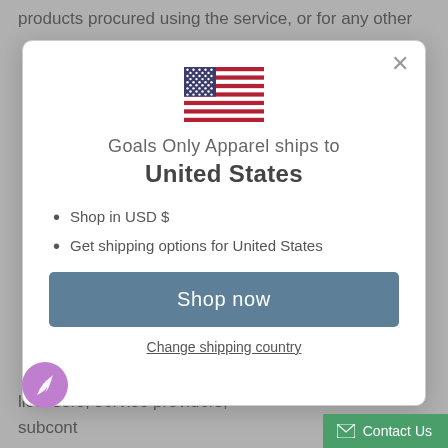products procured using the service, or for any other
[Figure (screenshot): Modal dialog showing Goals Only Apparel ships to United States with US flag, bullet points for USD and shipping options, a Shop now button, and a Change shipping country link]
Shop in USD $
Get shipping options for United States
Shop now
Change shipping country
licensors, service providers, subcont